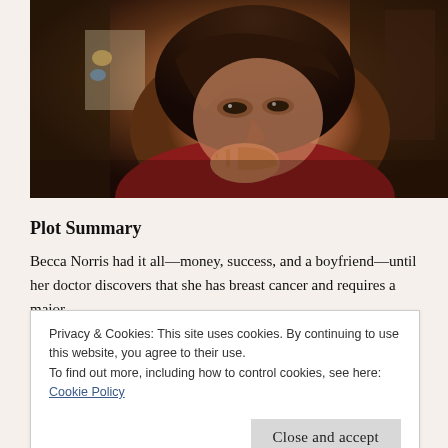[Figure (photo): A young woman with dark brown hair, wearing a red top, resting her chin on her hand with a thoughtful or concerned expression. Background shows a wall with some items on it.]
Plot Summary
Becca Norris had it all—money, success, and a boyfriend—until her doctor discovers that she has breast cancer and requires a major
Privacy & Cookies: This site uses cookies. By continuing to use this website, you agree to their use.
To find out more, including how to control cookies, see here: Cookie Policy
Close and accept
interested in her as a person and who makes her think twice about